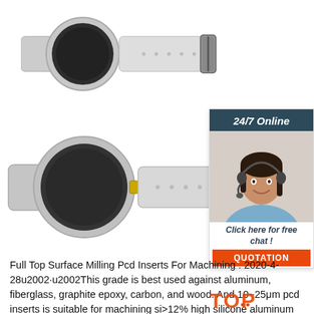[Figure (photo): Two RFID wristband watches with clear/transparent silicone strap and dark circular disc, shown from top and bottom angles]
[Figure (photo): 24/7 Online chat widget showing a customer service woman with headset, with 'Click here for free chat!' text and orange QUOTATION button]
Full Top Surface Milling Pcd Inserts For Machining . 2020-4-28u2002·u2002This grade is best used against aluminum, fiberglass, graphite epoxy, carbon, and wood. And 10~25μm pcd inserts is suitable for machining si>12% high silicone aluminum alloy and tungsten carbide. The last grade is 20~50μm, it is a high density material made out of micro diamond pieces. It has superior hardness and has a sharp edge.